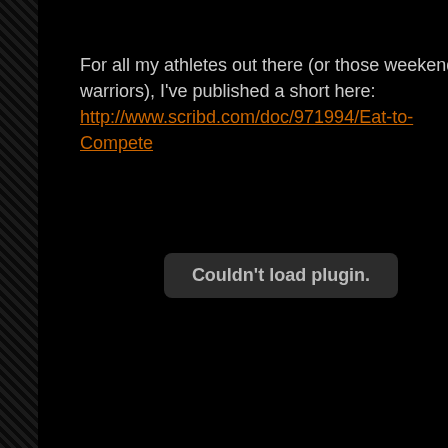For all my athletes out there (or those weekend warriors), I've published a short here: http://www.scribd.com/doc/971994/Eat-to-Compete
[Figure (screenshot): Embedded plugin area showing 'Couldn't load plugin.' error message on a black background]